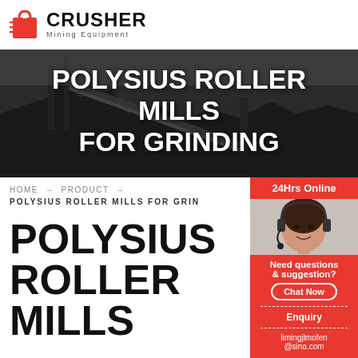[Figure (logo): Crusher Mining Equipment logo with red shopping bag icon and bold CRUSHER text]
[Figure (photo): Dark industrial mining equipment background photo with large white bold text: POLYSIUS ROLLER MILLS FOR GRINDING]
POLYSIUS ROLLER MILLS FOR GRINDING
HOME → PRODUCT →
POLYSIUS ROLLER MILLS FOR GRIN
POLYSIUS ROLLER MILLS
[Figure (photo): 24Hrs Online sidebar with woman wearing headset, Need questions & suggestion, Chat Now button, Enquiry section, limingjlmofen@sina.com email]